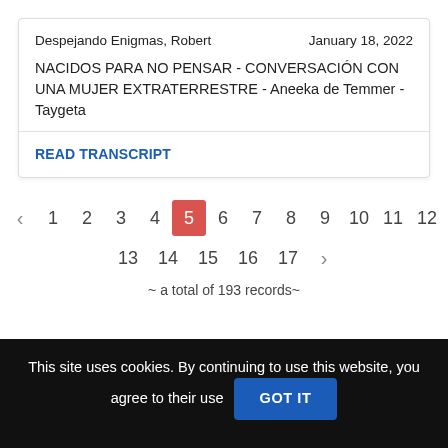Despejando Enigmas, Robert | January 18, 2022
NACIDOS PARA NO PENSAR - CONVERSACIÓN CON UNA MUJER EXTRATERRESTRE - Aneeka de Temmer - Taygeta
READ TRANSCRIPT
< 1 2 3 4 5 6 7 8 9 10 11 12 13 14 15 16 17 > ~ a total of 193 records~
This site uses cookies. By continuing to use this website, you agree to their use GOT IT